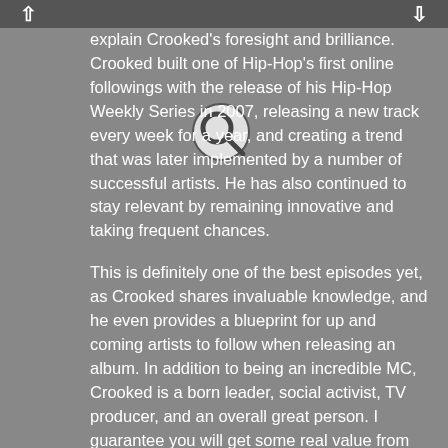explain Crooked's foresight and brilliance. Crooked built one of Hip-Hop's first online followings with the release of his Hip-Hop Weekly Series in 2007, releasing a new track every week for a year, and creating a trend that was later implemented by a number of successful artists. He has also continued to stay relevant by remaining innovative and taking frequent chances.
This is definitely one of the best episodes yet, as Crooked shares invaluable knowledge, and he even provides a blueprint for up and coming artists to follow when releasing an album. In addition to being an incredible MC, Crooked is a born leader, social activist, TV producer, and an overall great person. I guarantee you will get some real value from this interview or I'll give you a full refund. Check it out!
6:25 Traveling expands your mind
10:50 Being inspired by the success of Snoop Dogg and Warren G in his younger years